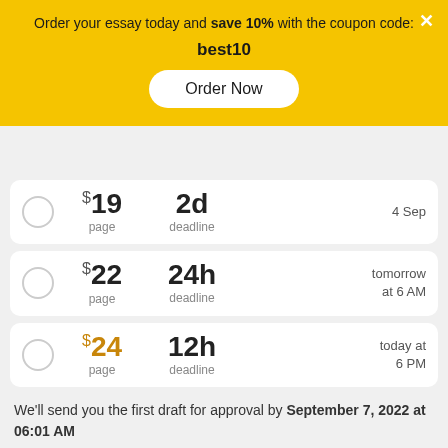Order your essay today and save 10% with the coupon code: best10
[Figure (screenshot): Order Now button on yellow promo banner]
$19 / page, 2d deadline, 4 Sep
$22 / page, 24h deadline, tomorrow at 6 AM
$24 / page, 12h deadline, today at 6 PM
We'll send you the first draft for approval by September 7, 2022 at 06:01 AM
Pages: 275 words